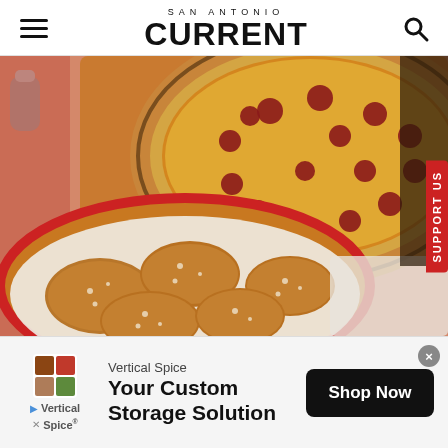SAN ANTONIO CURRENT
[Figure (photo): A pepperoni pizza on a red checkered tablecloth in the background and a basket of garlic knots/bread rolls dusted with parmesan in the foreground, served in a red basket with white paper liner.]
SUPPORT US
Vertical Spice
Your Custom Storage Solution
Shop Now